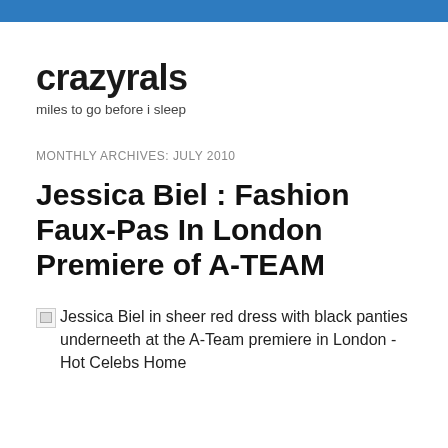crazyrals
miles to go before i sleep
MONTHLY ARCHIVES: JULY 2010
Jessica Biel : Fashion Faux-Pas In London Premiere of A-TEAM
[Figure (other): Broken image placeholder for: Jessica Biel in sheer red dress with black panties underneeth at the A-Team premiere in London - Hot Celebs Home]